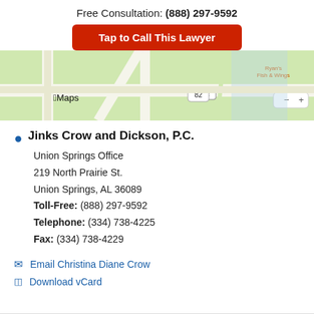Free Consultation: (888) 297-9592
Tap to Call This Lawyer
[Figure (map): Apple Maps screenshot showing location near TYE AVE W, route 82, route 29, with Ryan's Fish & Wings label visible]
Jinks Crow and Dickson, P.C.
Union Springs Office
219 North Prairie St.
Union Springs, AL 36089
Toll-Free: (888) 297-9592
Telephone: (334) 738-4225
Fax: (334) 738-4229
Email Christina Diane Crow
Download vCard